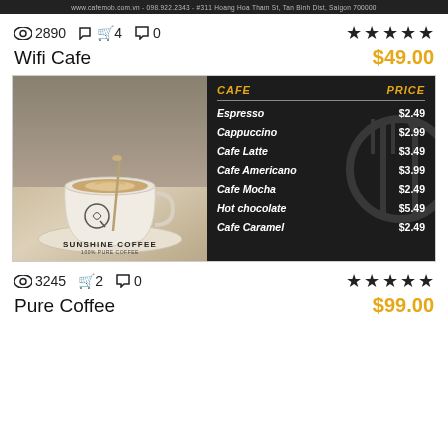www.cafemob.com.vn - 098.922.2343 - #311 Hoang Hoa Tham St, Tan Binh Dist, Saigon 700000
2890  4  0  ★★★★★
Wifi Cafe   $49.00
[Figure (photo): Cafe menu screenshot showing a coffee cup photo on left and a dark menu panel on right listing cafe items with prices: Espresso $2.49, Cappuccino $2.99, Cafe Latte $3.49, Cafe Americano $3.99, Cafe Mocha $2.49, Hot chocolate $5.49, Cafe Caramel $2.49]
3245  2  0  ★★★★★
Pure Coffee   $99.00